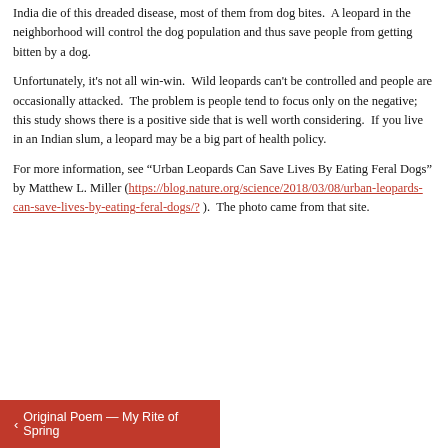India die of this dreaded disease, most of them from dog bites.  A leopard in the neighborhood will control the dog population and thus save people from getting bitten by a dog.
Unfortunately, it's not all win-win.  Wild leopards can't be controlled and people are occasionally attacked.  The problem is people tend to focus only on the negative; this study shows there is a positive side that is well worth considering.  If you live in an Indian slum, a leopard may be a big part of health policy.
For more information, see “Urban Leopards Can Save Lives By Eating Feral Dogs” by Matthew L. Miller (https://blog.nature.org/science/2018/03/08/urban-leopards-can-save-lives-by-eating-feral-dogs/ ).  The photo came from that site.
< Original Poem — My Rite of Spring